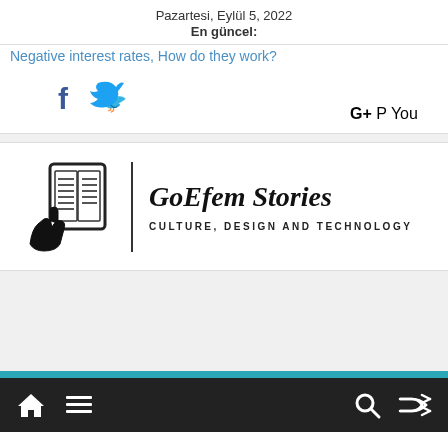Pazartesi, Eylül 5, 2022
En güncel:
Negative interest rates, How do they work?
[Figure (logo): Social media icons: Facebook, Twitter, Google+, Instagram, Pinterest, YouTube]
[Figure (logo): GoEfem Stories logo with tablet/book icon and text: GoEfem Stories, CULTURE, DESIGN AND TECHNOLOGY]
[Figure (infographic): Navigation bar with home icon, menu icon, search icon, and shuffle icon on dark background with teal top border]